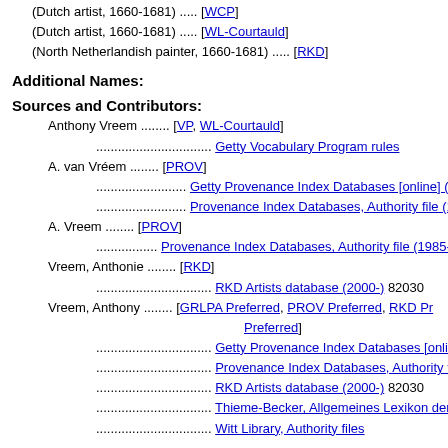(Dutch artist, 1660-1681) ..... [WCP]
(Dutch artist, 1660-1681) ..... [WL-Courtauld]
(North Netherlandish painter, 1660-1681) ..... [RKD]
Additional Names:
Sources and Contributors:
Anthony Vreem ........ [VP, WL-Courtauld]
................................ Getty Vocabulary Program rules
A. van Vréem ........ [PROV]
.......................... Getty Provenance Index Databases [online] (19
.......................... Provenance Index Databases, Authority file (19
A. Vreem ........ [PROV]
................. Provenance Index Databases, Authority file (1985-)
Vreem, Anthonie ........ [RKD]
................................ RKD Artists database (2000-) 82030
Vreem, Anthony ........ [GRLPA Preferred, PROV Preferred, RKD Preferred]
................................ Getty Provenance Index Databases [online] (
................................ Provenance Index Databases, Authority file (
................................ RKD Artists database (2000-) 82030
................................ Thieme-Becker, Allgemeines Lexikon der Kün
................................ Witt Library, Authority files
Subject: ........ [GRLPA, PROV, RKD, WCP, WL-Courtauld]
................. Database for the Witt Checklist of Painters c. 1200-1
................. Getty Provenance Index Databases [online] (1999)
................. Getty Vocabulary Program rules
................. RKD Artists database (2000-) 82030